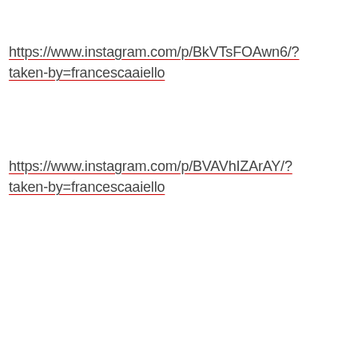https://www.instagram.com/p/BkVTsFOAwn6/?taken-by=francescaaiello
https://www.instagram.com/p/BVAVhIZArAY/?taken-by=francescaaiello